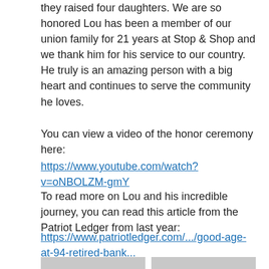they raised four daughters. We are so honored Lou has been a member of our union family for 21 years at Stop & Shop and we thank him for his service to our country. He truly is an amazing person with a big heart and continues to serve the community he loves.
You can view a video of the honor ceremony here:
https://www.youtube.com/watch?v=oNBOLZM-gmY
To read more on Lou and his incredible journey, you can read this article from the Patriot Ledger from last year:
https://www.patriotledger.com/.../good-age-at-94-retired-bank...
[Figure (photo): Group photo at a store with balloons, several people gathered together]
[Figure (photo): Two men facing each other in conversation inside a store]